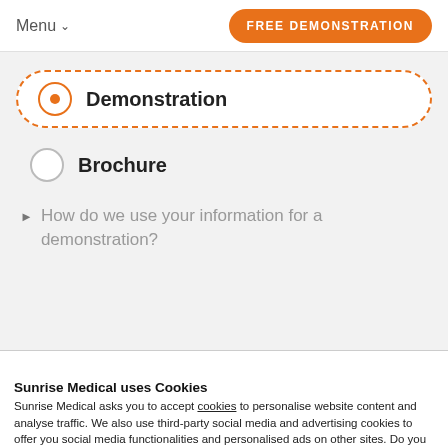Menu   FREE DEMONSTRATION
Demonstration
Brochure
▶ How do we use your information for a demonstration?
Sunrise Medical uses Cookies
Sunrise Medical asks you to accept cookies to personalise website content and analyse traffic. We also use third-party social media and advertising cookies to offer you social media functionalities and personalised ads on other sites. Do you accept these cookies and any processing of personal data involved?
CHANGE SETTINGS   YES, I ACCEPT